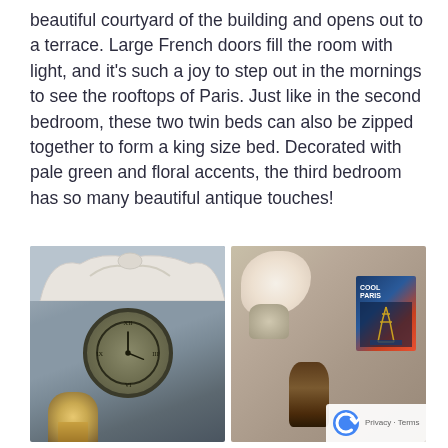beautiful courtyard of the building and opens out to a terrace. Large French doors fill the room with light, and it's such a joy to step out in the mornings to see the rooftops of Paris. Just like in the second bedroom, these two twin beds can also be zipped together to form a king size bed. Decorated with pale green and floral accents, the third bedroom has so many beautiful antique touches!
[Figure (photo): Bedroom interior with ornate white headboard at top and a large round wall clock with Roman numerals in the center; a lamp is visible at bottom left.]
[Figure (photo): Decorative shelf with white floral arrangement, a bronze reclining figurine statue, and a book with 'COOL PARIS' cover showing the Eiffel Tower.]